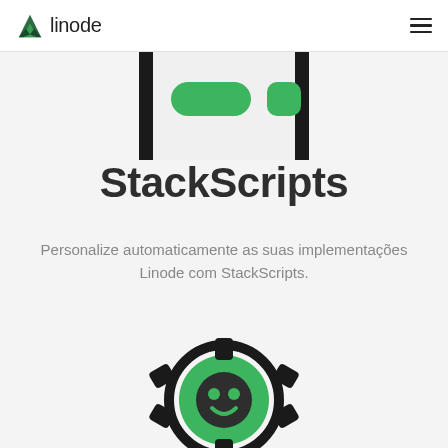linode
[Figure (illustration): Partial view of a mobile phone or device illustration with a dark rounded rectangle frame and green UI elements, cropped at the top of the page]
StackScripts
Personalize automaticamente as suas implementações Linode com StackScripts.
[Figure (illustration): Partial green gear/cog icon with a face-like design inside, cropped at the bottom of the page, representing StackScripts automation]